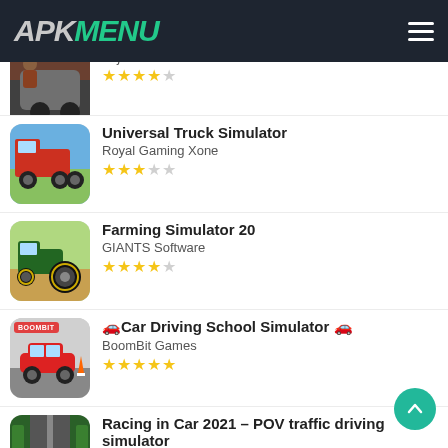APK MENU
PojoGames (partially visible) — 4 stars
Universal Truck Simulator
Royal Gaming Xone
3 stars
Farming Simulator 20
GIANTS Software
4 stars
🚗Car Driving School Simulator 🚗
BoomBit Games
5 stars
Racing in Car 2021 – POV traffic driving simulator
Unreal Games Studio